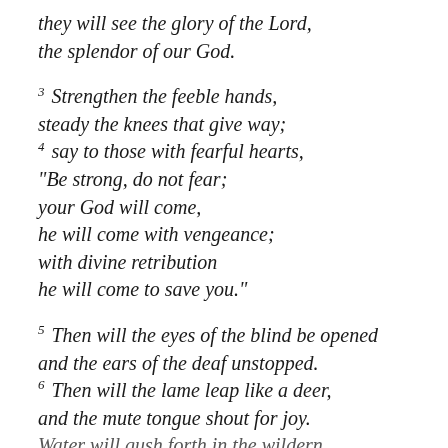they will see the glory of the Lord,
the splendor of our God.
3 Strengthen the feeble hands,
steady the knees that give way;
4 say to those with fearful hearts,
“Be strong, do not fear;
your God will come,
he will come with vengeance;
with divine retribution
he will come to save you.”
5 Then will the eyes of the blind be opened
and the ears of the deaf unstopped.
6 Then will the lame leap like a deer,
and the mute tongue shout for joy.